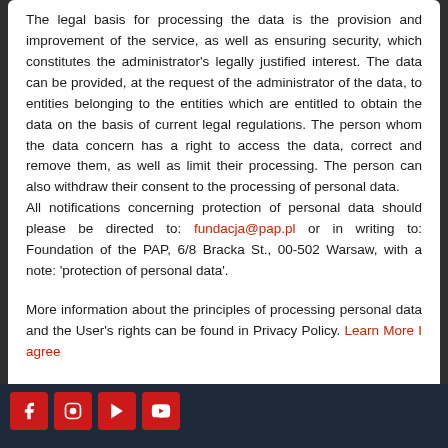The legal basis for processing the data is the provision and improvement of the service, as well as ensuring security, which constitutes the administrator's legally justified interest. The data can be provided, at the request of the administrator of the data, to entities belonging to the entities which are entitled to obtain the data on the basis of current legal regulations. The person whom the data concern has a right to access the data, correct and remove them, as well as limit their processing. The person can also withdraw their consent to the processing of personal data. All notifications concerning protection of personal data should please be directed to: fundacja@pap.pl or in writing to: Foundation of the PAP, 6/8 Bracka St., 00-502 Warsaw, with a note: 'protection of personal data'.
More information about the principles of processing personal data and the User's rights can be found in Privacy Policy. Learn More I agree